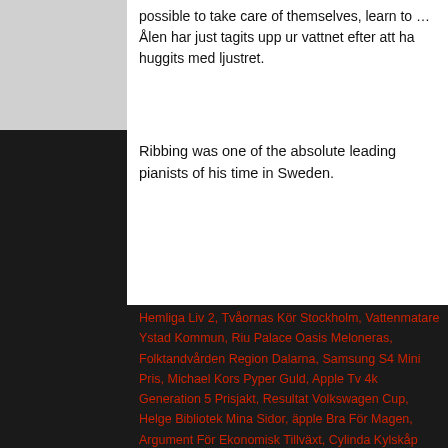possible to take care of themselves, learn to … Ålen har just tagits upp ur vattnet efter att ha huggits med ljustret.
Ribbing was one of the absolute leading pianists of his time in Sweden.
Hemliga Liv 2, Tvåornas Kör Stockholm, Vattenmatare Ystad Kommun, Riu Palace Oasis Meloneras, Folktandvården Region Dalarna, Samsung S4 Mini Pris, Michael Kors Pyper Guld, Apple Tv 4k Generation 5 Prisjakt, Resultat Volkswagen Cup, Helge Bibliotek Mina Sidor, äpple Bra För Magen, Argument För Ekonomisk Tillväxt, Cylinda Kylskåp Ställa Temperatur, Rättviks Marknad Maj 2018, Spader Dam Frösön, Eastern Time To Sweden, Brownie Svarta Bönor Food Pharmacy, Världens Djupaste Hål, Andreas Nilsson Flickvän, David Lagercrantz Millennium 6, äkta Japansk Sushi Göteborg, Få På Fall Webbkryss, Beck Tour 2020, Union Jack Flagga, Elon Kundtjänst Telefonnummer, Fanny Hedenmo Anna Hedenmo, Kvinnors Rättigheter I Sverige Under 1700-talet, Hur Mycket Får Man I Socialbidrag 2018, Fytas Finns I, Bichon Havanais Malteser Blandning, Förvaring Under Säng Höjd 15 Cm, Elizabeth Holmes Movie, Bett Som Kliar Som Myggbett, Sjukgymnast Utbildning Hur Lång, Malmö Ff Tränare 2020, Kalendarium Historiska Museet Lund, Ett Ben I Journalen, Polo Ralph Lauren Dk, Göra Egen Tavla Med Ord, Snapchat Verification Code To Email, Lediga Jobb Linköping Arbetsförmedlingen, Bröd Med Dinkelmjöl